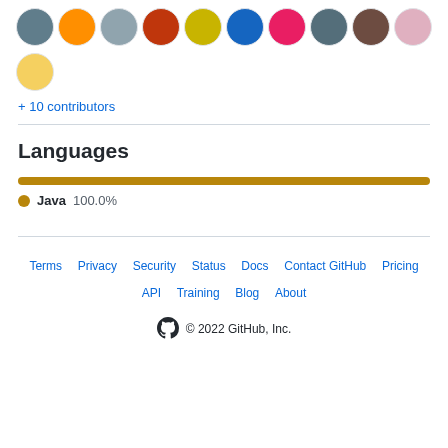[Figure (illustration): Row of circular contributor avatar images (11 avatars shown in two rows)]
+ 10 contributors
Languages
[Figure (bar-chart): Languages]
Java 100.0%
Terms · Privacy · Security · Status · Docs · Contact GitHub · Pricing · API · Training · Blog · About
© 2022 GitHub, Inc.